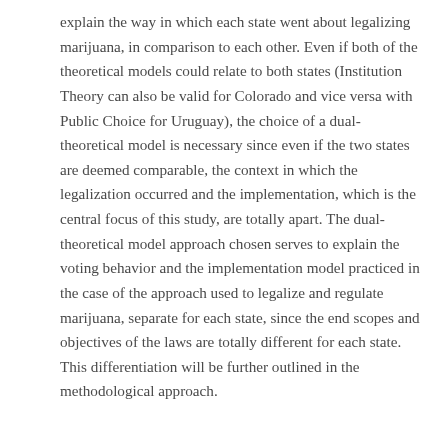explain the way in which each state went about legalizing marijuana, in comparison to each other. Even if both of the theoretical models could relate to both states (Institution Theory can also be valid for Colorado and vice versa with Public Choice for Uruguay), the choice of a dual-theoretical model is necessary since even if the two states are deemed comparable, the context in which the legalization occurred and the implementation, which is the central focus of this study, are totally apart. The dual-theoretical model approach chosen serves to explain the voting behavior and the implementation model practiced in the case of the approach used to legalize and regulate marijuana, separate for each state, since the end scopes and objectives of the laws are totally different for each state. This differentiation will be further outlined in the methodological approach.